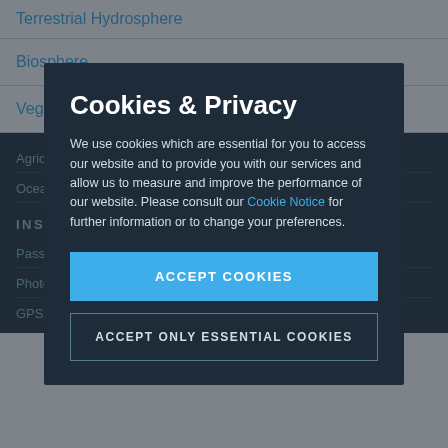Terrestrial Hydrosphere
Biosphere
Vegetation
Agriculture
Oceans
INSTRUMENT
Passive Remote Sensing
Photo/Optical
GPS
Cookies & Privacy
We use cookies which are essential for you to access our website and to provide you with our services and allow us to measure and improve the performance of our website. Please consult our Cookie Notice for further information or to change your preferences.
ACCEPT COOKIES
ACCEPT ONLY ESSENTIAL COOKIES